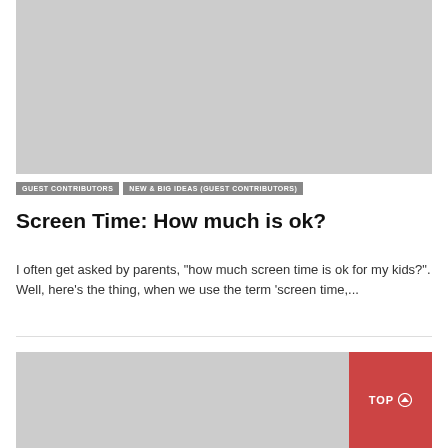[Figure (photo): Large gray placeholder image at top of article card]
GUEST CONTRIBUTORS   NEW & BIG IDEAS (GUEST CONTRIBUTORS)
Screen Time: How much is ok?
I often get asked by parents, "how much screen time is ok for my kids?". Well, here's the thing, when we use the term 'screen time,...
[Figure (photo): Gray placeholder image for next article card, with red TOP button]